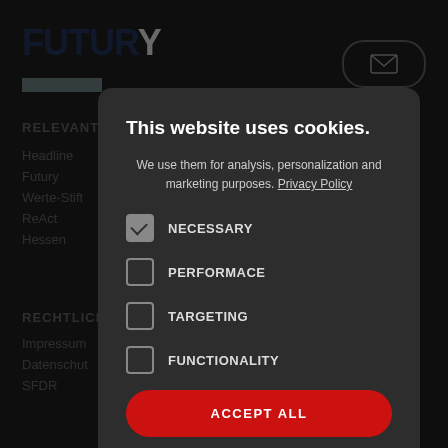[Figure (screenshot): Background of a dark website showing the Futury logo, navigation links including RELEVANT section with Headline, Futury, Werte-Stift, ReAct, Hessen, and RECHTLICH section with Impressum, Datenschut, SFDR. Email button top right.]
This website uses cookies.
We use them for analysis, personalization and marketing purposes. Privacy Policy
NECESSARY (checked)
PERFORMACE
TARGETING
FUNCTIONALITY
ACCEPT ALL